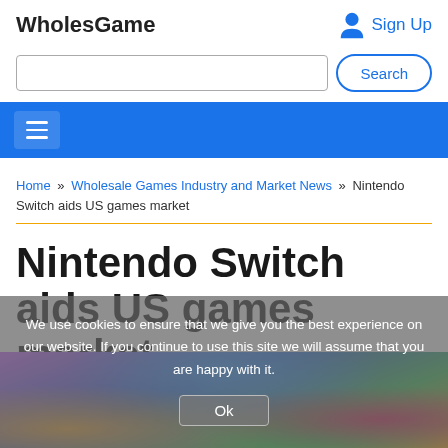WholesGame
Sign Up
Search
Home » Wholesale Games Industry and Market News » Nintendo Switch aids US games market
Nintendo Switch aids US games market
We use cookies to ensure that we give you the best experience on our website. If you continue to use this site we will assume that you are happy with it.
Ok
[Figure (photo): Colorful gaming image background at bottom of page]